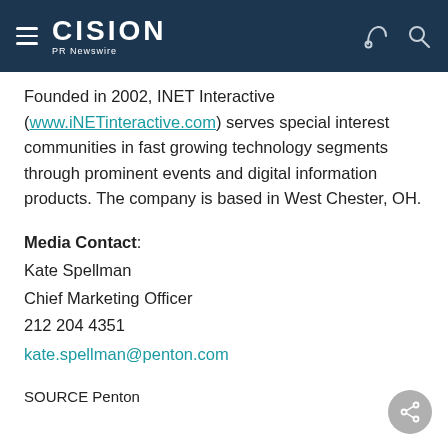CISION PR Newswire
Founded in 2002, INET Interactive (www.iNETinteractive.com) serves special interest communities in fast growing technology segments through prominent events and digital information products. The company is based in West Chester, OH.
Media Contact: Kate Spellman Chief Marketing Officer 212 204 4351 kate.spellman@penton.com
SOURCE Penton